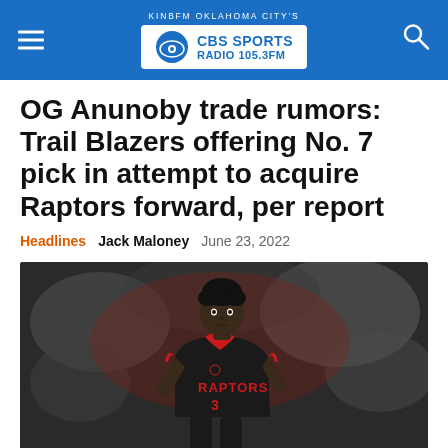KINFM OKLAHOMA CITY'S CBS SPORTS RADIO 105.3FM
OG Anunoby trade rumors: Trail Blazers offering No. 7 pick in attempt to acquire Raptors forward, per report
Headlines   Jack Maloney   June 23, 2022
[Figure (photo): Basketball player wearing a black Toronto Raptors jersey with red trim, number 3, in a game setting with blurred crowd in background]